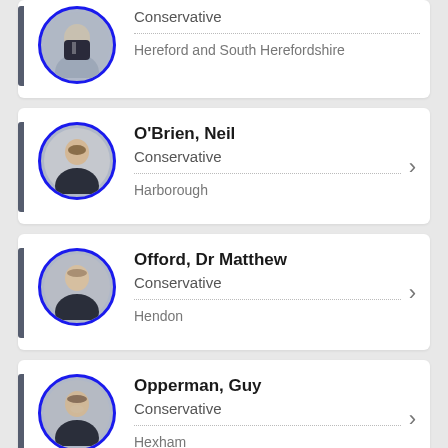[Figure (photo): Partial card at top: photo of a male MP, Conservative, Hereford and South Herefordshire constituency]
Conservative
Hereford and South Herefordshire
[Figure (photo): Photo of O'Brien, Neil]
O'Brien, Neil
Conservative
Harborough
[Figure (photo): Photo of Offord, Dr Matthew]
Offord, Dr Matthew
Conservative
Hendon
[Figure (photo): Photo of Opperman, Guy]
Opperman, Guy
Conservative
Hexham